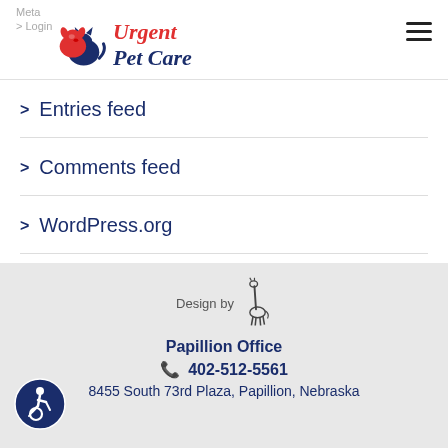Meta > Login
[Figure (logo): Urgent Pet Care logo with red dog and blue cat silhouette]
> Entries feed
> Comments feed
> WordPress.org
[Figure (illustration): Design by giraffe logo illustration]
Design by
Papillion Office
📞 402-512-5561
8455 South 73rd Plaza, Papillion, Nebraska
[Figure (logo): Accessibility icon - wheelchair symbol in dark blue circle]